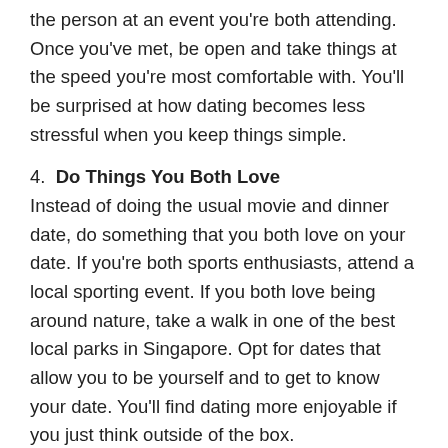the person at an event you're both attending. Once you've met, be open and take things at the speed you're most comfortable with. You'll be surprised at how dating becomes less stressful when you keep things simple.
4. Do Things You Both Love
Instead of doing the usual movie and dinner date, do something that you both love on your date. If you're both sports enthusiasts, attend a local sporting event. If you both love being around nature, take a walk in one of the best local parks in Singapore. Opt for dates that allow you to be yourself and to get to know your date. You'll find dating more enjoyable if you just think outside of the box.